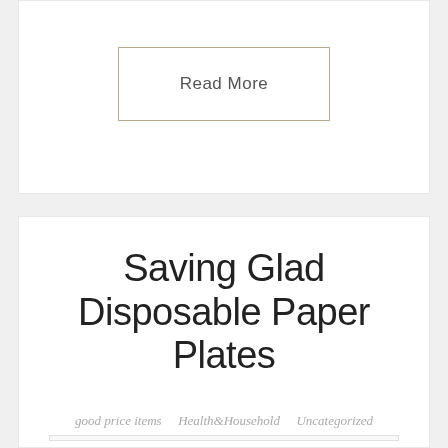Read More
Saving Glad Disposable Paper Plates
good price items   Health&Household   Uncategorized
[Figure (photo): Glad branded disposable paper plates with floral design pattern, showing the Glad logo on a yellow/orange circular label]